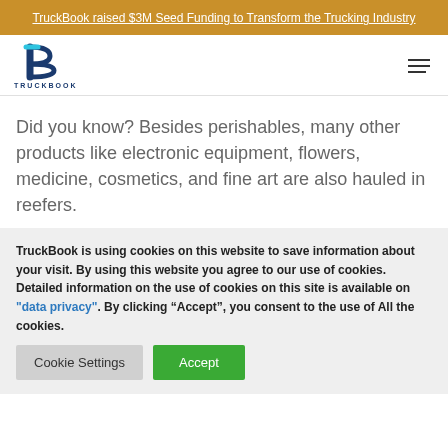TruckBook raised $3M Seed Funding to Transform the Trucking Industry
[Figure (logo): TruckBook logo with stylized B and TRUCKBOOK wordmark]
Did you know? Besides perishables, many other products like electronic equipment, flowers, medicine, cosmetics, and fine art are also hauled in reefers.
TruckBook is using cookies on this website to save information about your visit. By using this website you agree to our use of cookies. Detailed information on the use of cookies on this site is available on "data privacy". By clicking “Accept”, you consent to the use of All the cookies.